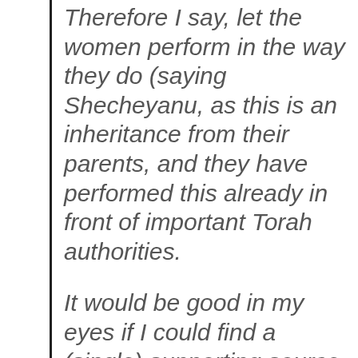Therefore I say, let the women perform in the way they do (saying Shecheyanu, as this is an inheritance from their parents, and they have performed this already in front of important Torah authorities.
It would be good in my eyes if I could find a (single) supporting source in the Poskim for this, however I have not seen permission for saying